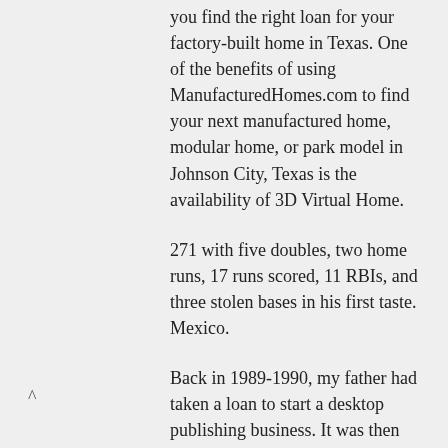you find the right loan for your factory-built home in Texas. One of the benefits of using ManufacturedHomes.com to find your next manufactured home, modular home, or park model in Johnson City, Texas is the availability of 3D Virtual Home.
271 with five doubles, two home runs, 17 runs scored, 11 RBIs, and three stolen bases in his first taste. Mexico.
Back in 1989-1990, my father had taken a loan to start a desktop publishing business. It was then that he accepted a role.
Home Loans In Somerville, Texas Home Loans In Springlake, Texas Consolidation Loan Interest Rates in Springlake, TX –